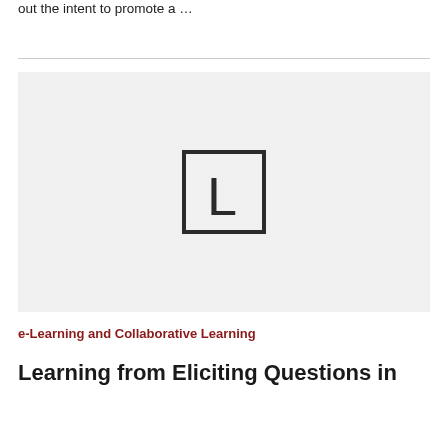out the intent to promote a …
[Figure (other): Placeholder image with letter L in a square box on a light gray background]
e-Learning and Collaborative Learning
Learning from Eliciting Questions in